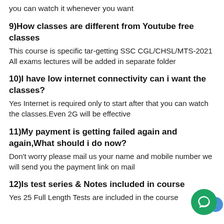you can watch it whenever you want
9)How classes are different from Youtube free classes
This course is specific tar-getting SSC CGL/CHSL/MTS-2021
All exams lectures will be added in separate folder
10)I have low internet connectivity can i want the classes?
Yes Internet is required only to start after that you can watch the classes.Even 2G will be effective
11)My payment is getting failed again and again,What should i do now?
Don't worry please mail us your name and mobile number we will send you the payment link on mail
12)Is test series & Notes included in course
Yes 25 Full Length Tests are included in the course